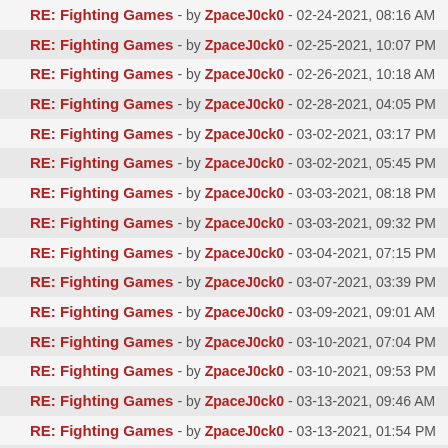RE: Fighting Games - by ZpaceJ0ck0 - 02-24-2021, 08:16 AM
RE: Fighting Games - by ZpaceJ0ck0 - 02-25-2021, 10:07 PM
RE: Fighting Games - by ZpaceJ0ck0 - 02-26-2021, 10:18 AM
RE: Fighting Games - by ZpaceJ0ck0 - 02-28-2021, 04:05 PM
RE: Fighting Games - by ZpaceJ0ck0 - 03-02-2021, 03:17 PM
RE: Fighting Games - by ZpaceJ0ck0 - 03-02-2021, 05:45 PM
RE: Fighting Games - by ZpaceJ0ck0 - 03-03-2021, 08:18 PM
RE: Fighting Games - by ZpaceJ0ck0 - 03-03-2021, 09:32 PM
RE: Fighting Games - by ZpaceJ0ck0 - 03-04-2021, 07:15 PM
RE: Fighting Games - by ZpaceJ0ck0 - 03-07-2021, 03:39 PM
RE: Fighting Games - by ZpaceJ0ck0 - 03-09-2021, 09:01 AM
RE: Fighting Games - by ZpaceJ0ck0 - 03-10-2021, 07:04 PM
RE: Fighting Games - by ZpaceJ0ck0 - 03-10-2021, 09:53 PM
RE: Fighting Games - by ZpaceJ0ck0 - 03-13-2021, 09:46 AM
RE: Fighting Games - by ZpaceJ0ck0 - 03-13-2021, 01:54 PM
RE: Fighting Games - by ZpaceJ0ck0 - 03-13-2021, 07:06 PM
RE: Fighting Games - by ZpaceJ0ck0 - 03-14-2021, 09:41 AM
RE: Fighting Games - by ZpaceJ0ck0 - 03-14-2021, 01:58 PM
RE: Fighting Games - by ZpaceJ0ck0 - 03-16-2021, 03:52 PM
RE: Fighting Games - by ZpaceJ0ck0 - 03-16-2021, 09:44 PM
RE: Fighting Games - by ZpaceJ0ck0 - 03-17-2021, 05:51 PM
RE: Fighting Games - by ZpaceJ0ck0 - 03-17-2021, 09:40 PM
RE: Fighting Games - by ZpaceJ0ck0 - 03-19-2021, 07:37 AM
RE: Fighting Games - by ZpaceJ0ck0 - 03-19-2021, 02:11 PM